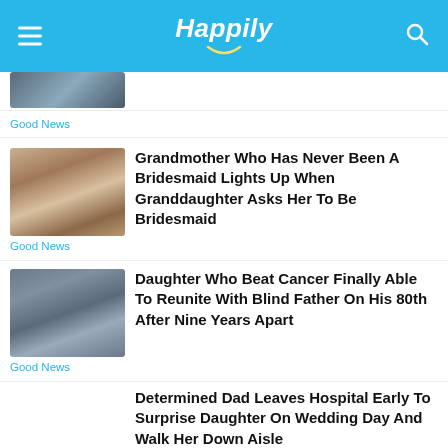Happily
[Figure (screenshot): Partial thumbnail image of first article (top of list, partially cut off)]
Good News
[Figure (photo): Thumbnail photo of two women, one holding papers, for grandmother bridesmaid article]
Good News
Grandmother Who Has Never Been A Bridesmaid Lights Up When Granddaughter Asks Her To Be Bridesmaid
[Figure (photo): Thumbnail photo of elderly man being hugged, daughter reuniting with blind father]
Good News
Daughter Who Beat Cancer Finally Able To Reunite With Blind Father On His 80th After Nine Years Apart
Good News
Determined Dad Leaves Hospital Early To Surprise Daughter On Wedding Day And Walk Her Down Aisle
Stunned Mom Screams As She Opens Giant Box To Discover Her Military-